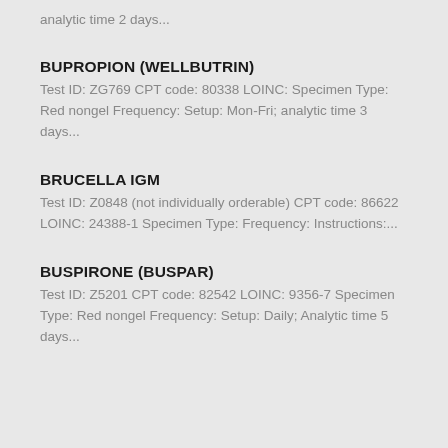analytic time 2 days...
BUPROPION (WELLBUTRIN)
Test ID: ZG769 CPT code: 80338 LOINC: Specimen Type: Red nongel Frequency: Setup: Mon-Fri; analytic time 3 days...
BRUCELLA IGM
Test ID: Z0848 (not individually orderable) CPT code: 86622 LOINC: 24388-1 Specimen Type: Frequency: Instructions:...
BUSPIRONE (BUSPAR)
Test ID: Z5201 CPT code: 82542 LOINC: 9356-7 Specimen Type: Red nongel Frequency: Setup: Daily; Analytic time 5 days...